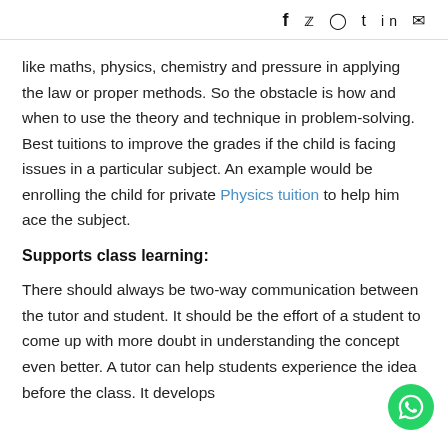f  ❤  ⊕  t  in  ✉
like maths, physics, chemistry and pressure in applying the law or proper methods. So the obstacle is how and when to use the theory and technique in problem-solving. Best tuitions to improve the grades if the child is facing issues in a particular subject. An example would be enrolling the child for private Physics tuition to help him ace the subject.
Supports class learning:
There should always be two-way communication between the tutor and student. It should be the effort of a student to come up with more doubt in understanding the concept even better. A tutor can help students experience the idea before the class. It develops